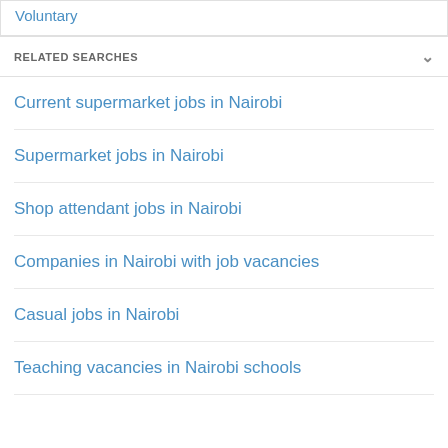Voluntary
RELATED SEARCHES
Current supermarket jobs in Nairobi
Supermarket jobs in Nairobi
Shop attendant jobs in Nairobi
Companies in Nairobi with job vacancies
Casual jobs in Nairobi
Teaching vacancies in Nairobi schools